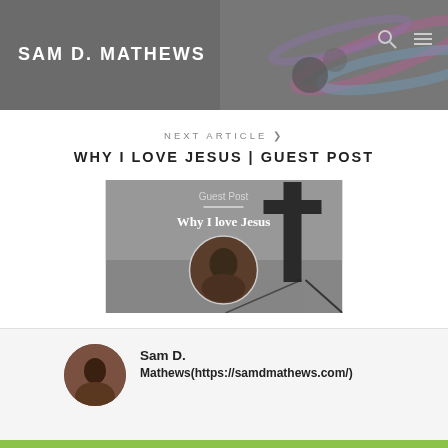SAM D. MATHEWS
NEXT ARTICLE ❯
WHY I LOVE JESUS | GUEST POST
[Figure (photo): Black and white image showing a cross silhouette against sky, with circular portrait photo and 'Guest Post — Why I love Jesus' text overlay]
Sam D. Mathews(https://samdmathews.com/)